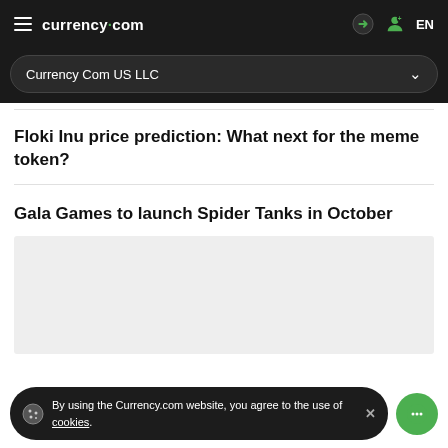currency.com  EN
Currency Com US LLC
Floki Inu price prediction: What next for the meme token?
Gala Games to launch Spider Tanks in October
[Figure (photo): Gray image placeholder for article thumbnail]
By using the Currency.com website, you agree to the use of cookies.